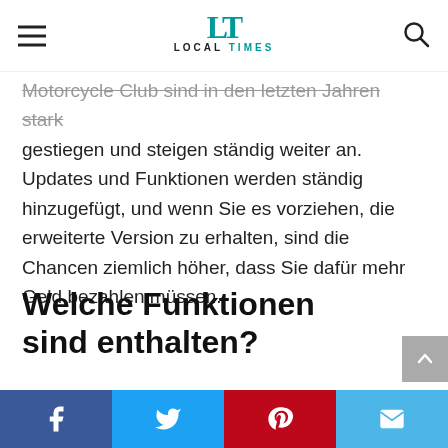LOCAL TIMES
Motorcycle Club sind in den letzten Jahren stark gestiegen und steigen ständig weiter an. Updates und Funktionen werden ständig hinzugefügt, und wenn Sie es vorziehen, die erweiterte Version zu erhalten, sind die Chancen ziemlich höher, dass Sie dafür mehr Geld bezahlen müssen.
Welche Funktionen sind enthalten?
Das Wichtigste, was man bei der endgültigen Entscheidung über den Kauf von Black Rebel